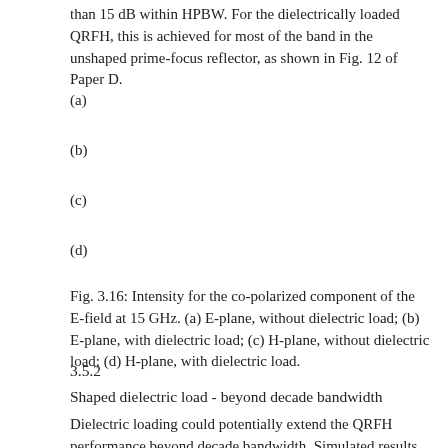than 15 dB within HPBW. For the dielectrically loaded QRFH, this is achieved for most of the band in the unshaped prime-focus reflector, as shown in Fig. 12 of Paper D.
(a)
(b)
(c)
(d)
Fig. 3.16: Intensity for the co-polarized component of the E-field at 15 GHz. (a) E-plane, without dielectric load; (b) E-plane, with dielectric load; (c) H-plane, without dielectric load; (d) H-plane, with dielectric load.
3.5.2
Shaped dielectric load - beyond decade bandwidth
Dielectric loading could potentially extend the QRFH performance beyond decade bandwidth. Simulated results in Fig. 3.18 over 13:1 bandwidth are normalized to the lowest frequency of the band, as shown in the following pages.